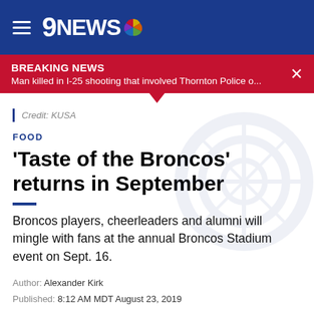9NEWS
BREAKING NEWS
Man killed in I-25 shooting that involved Thornton Police o...
Credit: KUSA
FOOD
'Taste of the Broncos' returns in September
Broncos players, cheerleaders and alumni will mingle with fans at the annual Broncos Stadium event on Sept. 16.
Author: Alexander Kirk
Published: 8:12 AM MDT August 23, 2019